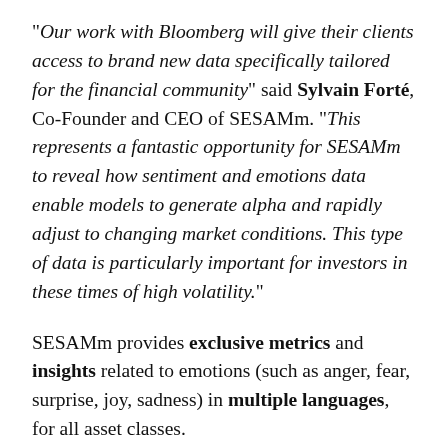“Our work with Bloomberg will give their clients access to brand new data specifically tailored for the financial community” said Sylvain Forté, Co-Founder and CEO of SESAMm. “This represents a fantastic opportunity for SESAMm to reveal how sentiment and emotions data enable models to generate alpha and rapidly adjust to changing market conditions. This type of data is particularly important for investors in these times of high volatility.”
SESAMm provides exclusive metrics and insights related to emotions (such as anger, fear, surprise, joy, sadness) in multiple languages, for all asset classes.